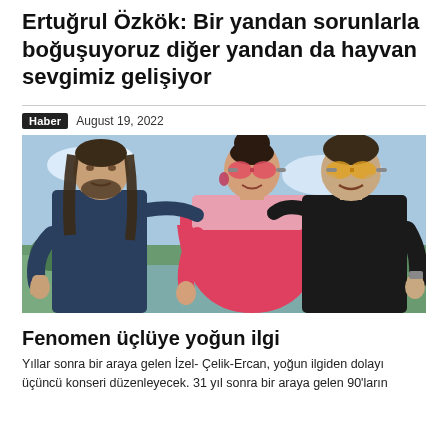Ertuğrul Özkök: Bir yandan sorunlarla boğuşuyoruz diğer yandan da hayvan sevgimiz gelişiyor
Haber   August 19, 2022
[Figure (photo): Three people posing outdoors with thumbs up gesture. A man on the left with long hair wearing a dark blue shirt, a woman in the center wearing a red off-shoulder dress and pink sunglasses, and a man on the right wearing a black t-shirt and amber sunglasses. They are standing against a scenic outdoor background with sky and greenery.]
Fenomen üçlüye yoğun ilgi
Yıllar sonra bir araya gelen İzel- Çelik-Ercan, yoğun ilgiden dolayı üçüncü konseri düzenleyecek. 31 yıl sonra bir araya gelen 90'ların